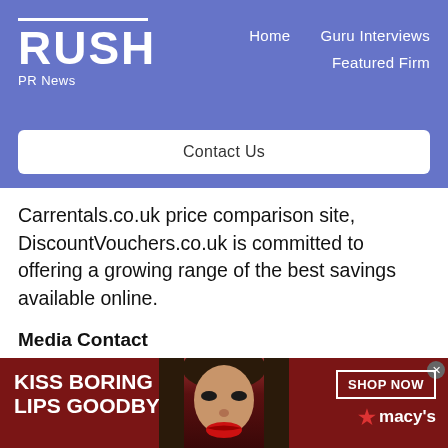RUSH PR News — Home | Guru Interviews | Featured Firm
Contact Us
Carrentals.co.uk price comparison site, DiscountVouchers.co.uk is committed to offering a growing range of the best savings available online.
Media Contact
Oliver Jones
[Figure (infographic): Red advertisement banner: KISS BORING LIPS GOODBYE text on left, woman's face in center, SHOP NOW button and Macy's star logo on right]